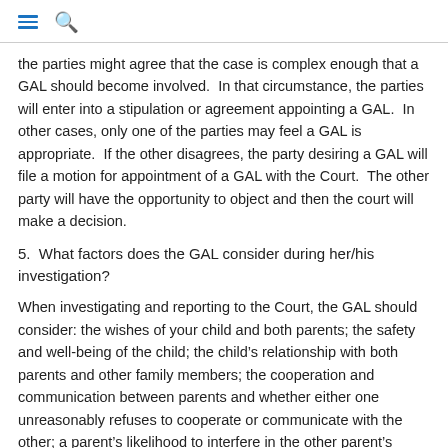☰ 🔍
the parties might agree that the case is complex enough that a GAL should become involved.  In that circumstance, the parties will enter into a stipulation or agreement appointing a GAL.  In other cases, only one of the parties may feel a GAL is appropriate.  If the other disagrees, the party desiring a GAL will file a motion for appointment of a GAL with the Court.  The other party will have the opportunity to object and then the court will make a decision.
5.  What factors does the GAL consider during her/his investigation?
When investigating and reporting to the Court, the GAL should consider: the wishes of your child and both parents; the safety and well-being of the child; the child's relationship with both parents and other family members; the cooperation and communication between parents and whether either one unreasonably refuses to cooperate or communicate with the other; a parent's likelihood to interfere in the other parent's continuing relationship with the child; any physical abuse or problems that the child has had; the parents' future plans for the child; and other relevant factors.